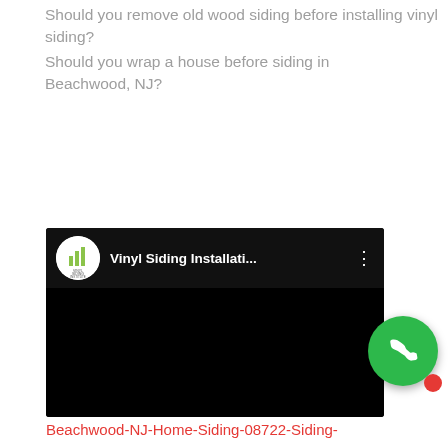Should you remove old wood siding before installing vinyl siding?
Should you wrap a house before siding in Beachwood, NJ?
[Figure (screenshot): YouTube video embed showing 'Vinyl Siding Installati...' from Vinyl Siding Institute channel. Black video player with channel logo (green bar chart icon), video title, and three-dot menu.]
[Figure (illustration): Green circular phone call button with white phone icon, and small red circle at bottom right.]
Beachwood-NJ-Home-Siding-08722-Siding-